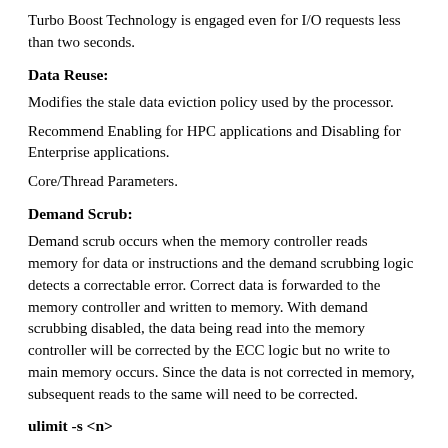Turbo Boost Technology is engaged even for I/O requests less than two seconds.
Data Reuse:
Modifies the stale data eviction policy used by the processor.
Recommend Enabling for HPC applications and Disabling for Enterprise applications.
Core/Thread Parameters.
Demand Scrub:
Demand scrub occurs when the memory controller reads memory for data or instructions and the demand scrubbing logic detects a correctable error. Correct data is forwarded to the memory controller and written to memory. With demand scrubbing disabled, the data being read into the memory controller will be corrected by the ECC logic but no write to main memory occurs. Since the data is not corrected in memory, subsequent reads to the same will need to be corrected.
ulimit -s <n>
Sets the stack size to n kbytes, or unlimited to allow the stack size to grow without limit.